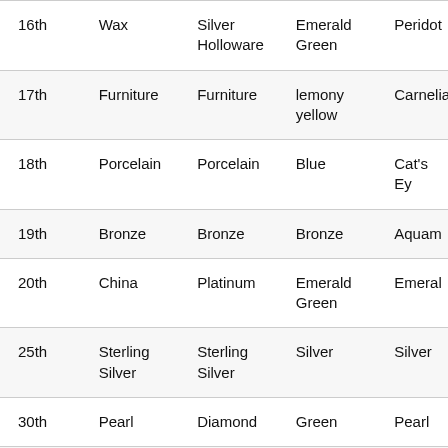| Year | Traditional | Modern | Color | Gemstone |
| --- | --- | --- | --- | --- |
| 16th | Wax | Silver Holloware | Emerald Green | Peridot |
| 17th | Furniture | Furniture | lemony yellow | Carnelian |
| 18th | Porcelain | Porcelain | Blue | Cat's Eye |
| 19th | Bronze | Bronze | Bronze | Aquamarine |
| 20th | China | Platinum | Emerald Green | Emerald |
| 25th | Sterling Silver | Sterling Silver | Silver | Silver |
| 30th | Pearl | Diamond | Green | Pearl |
| 35th | Coral | Jade | Coral | Emerald |
| 40th | Ruby | Ruby | Ruby Red | Ruby |